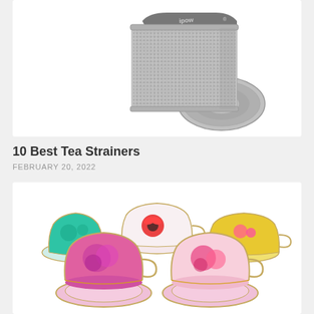[Figure (photo): A stainless steel mesh tea strainer/infuser with a handle and a round lid, shown on white background. Brand name 'ipow' visible on the handle.]
10 Best Tea Strainers
FEBRUARY 20, 2022
[Figure (photo): A set of colorful floral porcelain teacups and saucers arranged together. Cups feature various floral patterns in teal, pink, white, and yellow colors with gold trim.]